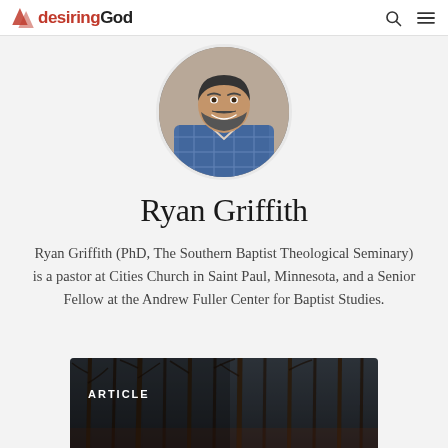desiringGod
[Figure (photo): Circular portrait photo of Ryan Griffith, a bearded man smiling, wearing a blue plaid shirt]
Ryan Griffith
Ryan Griffith (PhD, The Southern Baptist Theological Seminary) is a pastor at Cities Church in Saint Paul, Minnesota, and a Senior Fellow at the Andrew Fuller Center for Baptist Studies.
[Figure (photo): Dark atmospheric photo of bare trees in a forest, with ARTICLE label overlaid]